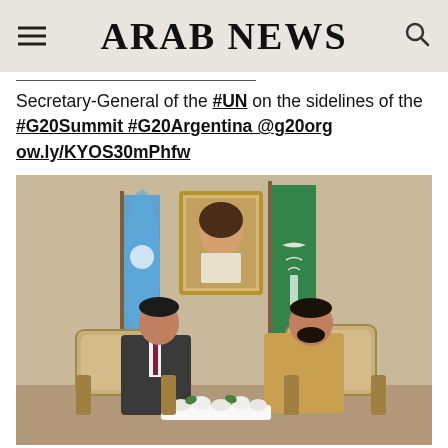ARAB NEWS
Secretary-General of the #UN on the sidelines of the #G20Summit #G20Argentina @g20org ow.ly/KYOS30mPhfw
[Figure (photo): Two men seated in ornate chairs facing each other in a formal meeting room. A United Nations flag is on the left and a Saudi Arabian flag on the right. A framed portrait of a dignitary hangs on the wall between them. White flowers are on the table between the two men.]